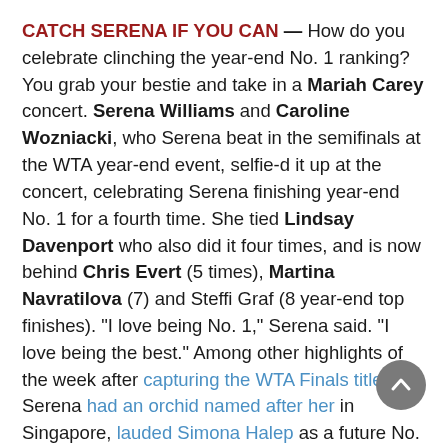CATCH SERENA IF YOU CAN — How do you celebrate clinching the year-end No. 1 ranking? You grab your bestie and take in a Mariah Carey concert. Serena Williams and Caroline Wozniacki, who Serena beat in the semifinals at the WTA year-end event, selfie-d it up at the concert, celebrating Serena finishing year-end No. 1 for a fourth time. She tied Lindsay Davenport who also did it four times, and is now behind Chris Evert (5 times), Martina Navratilova (7) and Steffi Graf (8 year-end top finishes). "I love being No. 1," Serena said. "I love being the best." Among other highlights of the week after capturing the WTA Finals title, Serena had an orchid named after her in Singapore, lauded Simona Halep as a future No. 1, and added some bling to her collection reportedly with a Audemars Piguet Millenary watch made with 323 diamonds running around $75K.